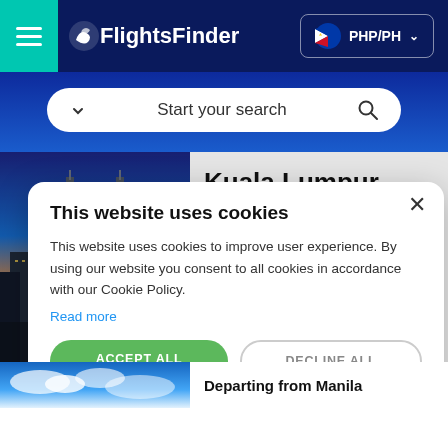FlightsFinder — PHP/PH
Start your search
Kuala Lumpur
Departing from Manila
This website uses cookies
This website uses cookies to improve user experience. By using our website you consent to all cookies in accordance with our Cookie Policy.
Read more
ACCEPT ALL
DECLINE ALL
SHOW DETAILS
Departing from Manila